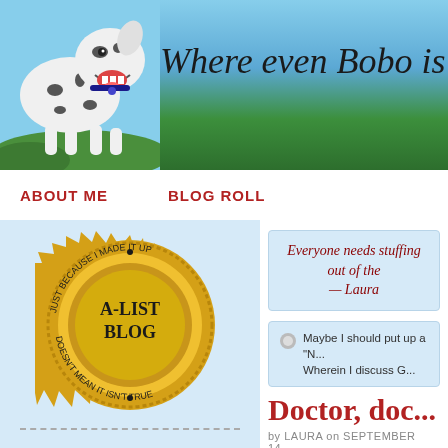[Figure (photo): Blog header image showing a Dalmatian dog on the left and grass/sky background with italic text 'Where even Bobo is sh...']
Where even Bobo is sh...
ABOUT ME    BLOG ROLL
[Figure (illustration): Gold seal badge reading 'A-LIST BLOG' with text around the edge: 'JUST BECAUSE I MADE IT UP' and 'DOESN'T MEAN IT ISN'T TRUE']
Links to Enjoy
Everyone needs stuffing out of the — Laura
Maybe I should put up a "N... Wherein I discuss G...
Doctor, doc...
by LAURA on SEPTEMBER 14...
Monday morning I was sitt...